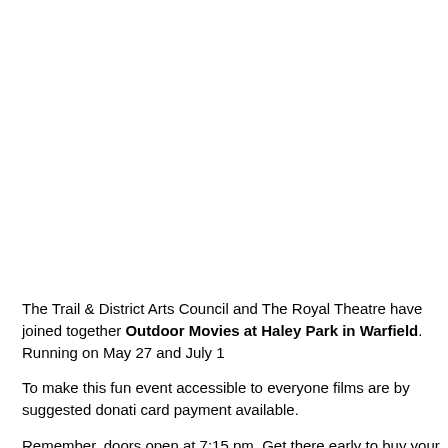The Trail & District Arts Council and The Royal Theatre have joined together Outdoor Movies at Haley Park in Warfield. Running on May 27 and July 1
To make this fun event accessible to everyone films are by suggested donati card payment available.
Remember, doors open at 7:15 pm. Get there early to buy your popcorn and blankets to cozy up under the stars.